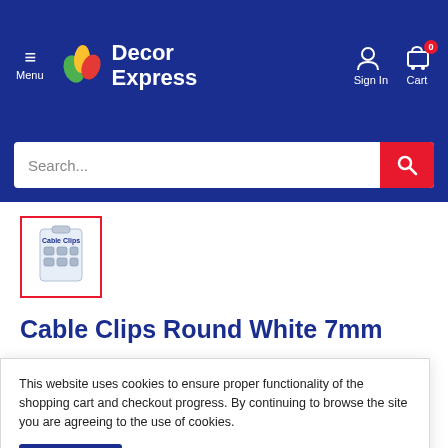[Figure (screenshot): Decor Express website header with logo, menu, sign in and cart icons on dark blue background]
[Figure (screenshot): Search bar with placeholder text 'Search...' and red search button]
[Figure (photo): Product thumbnail image of Cable Clips Round White 7mm with red border]
Cable Clips Round White 7mm
STATUS | SKU: 25442F5249-SO22022167384
This website uses cookies to ensure proper functionality of the shopping cart and checkout progress. By continuing to browse the site you are agreeing to the use of cookies.
Accept
7mm